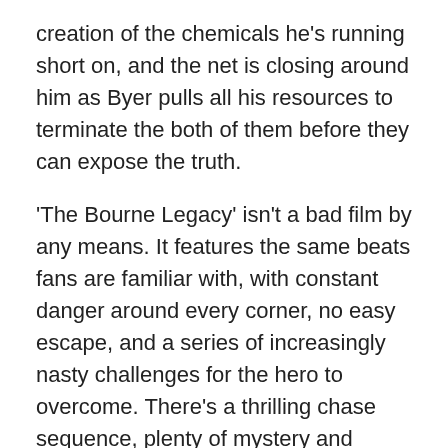creation of the chemicals he's running short on, and the net is closing around him as Byer pulls all his resources to terminate the both of them before they can expose the truth.
'The Bourne Legacy' isn't a bad film by any means. It features the same beats fans are familiar with, with constant danger around every corner, no easy escape, and a series of increasingly nasty challenges for the hero to overcome. There's a thrilling chase sequence, plenty of mystery and mystique concerning the entire saga revealed, and a strong core of villains calling the shots, not to mention riveting frenetic action and a beautiful female love interest. It also features far too much forced nostalgia and failed attempts at callbacks to events in previous